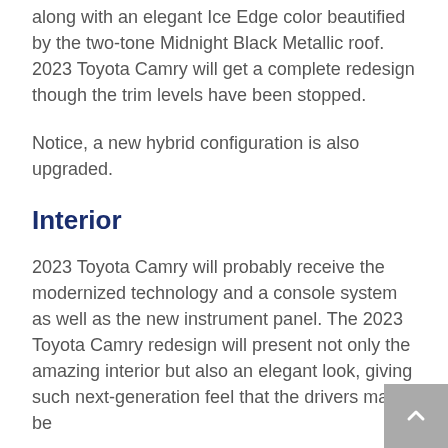along with an elegant Ice Edge color beautified by the two-tone Midnight Black Metallic roof. 2023 Toyota Camry will get a complete redesign though the trim levels have been stopped.
Notice, a new hybrid configuration is also upgraded.
Interior
2023 Toyota Camry will probably receive the modernized technology and a console system as well as the new instrument panel. The 2023 Toyota Camry redesign will present not only the amazing interior but also an elegant look, giving such next-generation feel that the drivers may be